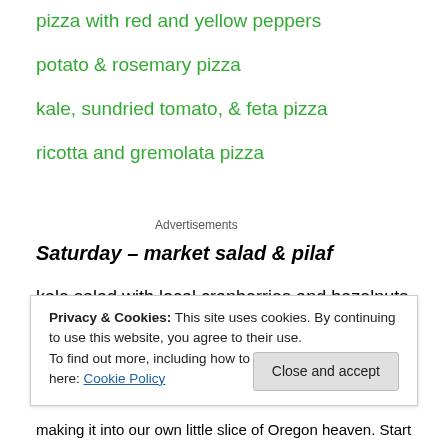pizza with red and yellow peppers
potato & rosemary pizza
kale, sundried tomato, & feta pizza
ricotta and gremolata pizza
Advertisements
Saturday – market salad & pilaf
kale salad with local cranberries and hazelnuts (James Beard)
Privacy & Cookies: This site uses cookies. By continuing to use this website, you agree to their use.
To find out more, including how to control cookies, see here: Cookie Policy
making it into our own little slice of Oregon heaven. Start